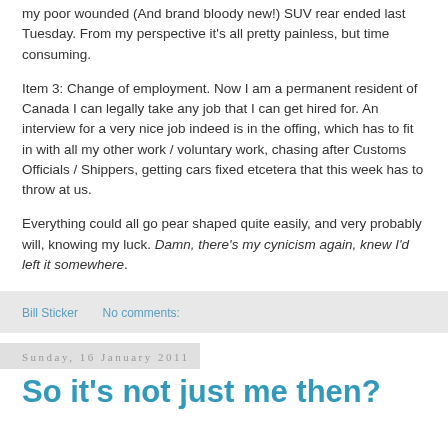my poor wounded (And brand bloody new!) SUV rear ended last Tuesday. From my perspective it's all pretty painless, but time consuming.
Item 3: Change of employment. Now I am a permanent resident of Canada I can legally take any job that I can get hired for. An interview for a very nice job indeed is in the offing, which has to fit in with all my other work / voluntary work, chasing after Customs Officials / Shippers, getting cars fixed etcetera that this week has to throw at us.
Everything could all go pear shaped quite easily, and very probably will, knowing my luck. Damn, there's my cynicism again, knew I'd left it somewhere.
Bill Sticker     No comments:
Sunday, 16 January 2011
So it's not just me then?